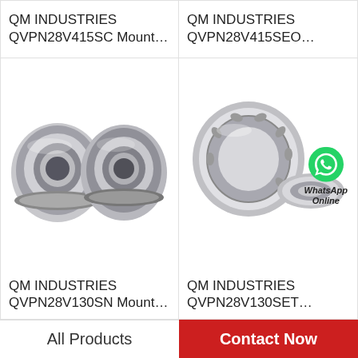QM INDUSTRIES QVPN28V415SC Mount…
QM INDUSTRIES QVPN28V415SEO…
[Figure (photo): Two cylindrical wheel hub bearings, metallic silver, shown side by side on white background]
[Figure (photo): Tapered roller bearing components with WhatsApp Online overlay logo]
QM INDUSTRIES QVPN28V130SN Mount…
QM INDUSTRIES QVPN28V130SET…
All Products
Contact Now